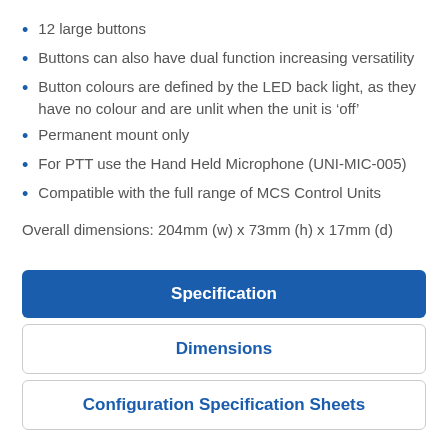12 large buttons
Buttons can also have dual function increasing versatility
Button colours are defined by the LED back light, as they have no colour and are unlit when the unit is 'off'
Permanent mount only
For PTT use the Hand Held Microphone (UNI-MIC-005)
Compatible with the full range of MCS Control Units
Overall dimensions: 204mm (w) x 73mm (h) x 17mm (d)
Specification
Dimensions
Configuration Specification Sheets